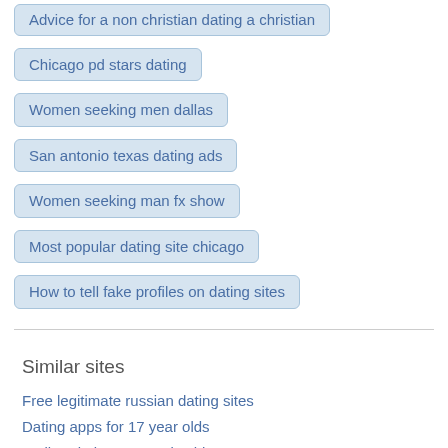Advice for a non christian dating a christian
Chicago pd stars dating
Women seeking men dallas
San antonio texas dating ads
Women seeking man fx show
Most popular dating site chicago
How to tell fake profiles on dating sites
Similar sites
Free legitimate russian dating sites
Dating apps for 17 year olds
Stalker dating women in chicago